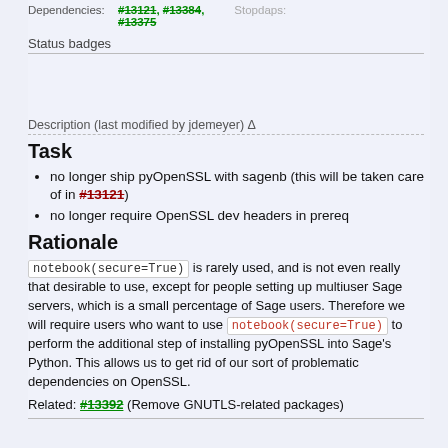Dependencies: #13121, #13384, #13375 Stopdaps:
Status badges
Description (last modified by jdemeyer) Δ
Task
no longer ship pyOpenSSL with sagenb (this will be taken care of in #13121)
no longer require OpenSSL dev headers in prereq
Rationale
notebook(secure=True) is rarely used, and is not even really that desirable to use, except for people setting up multiuser Sage servers, which is a small percentage of Sage users. Therefore we will require users who want to use notebook(secure=True) to perform the additional step of installing pyOpenSSL into Sage's Python. This allows us to get rid of our sort of problematic dependencies on OpenSSL.
Related: #13392 (Remove GNUTLS-related packages)